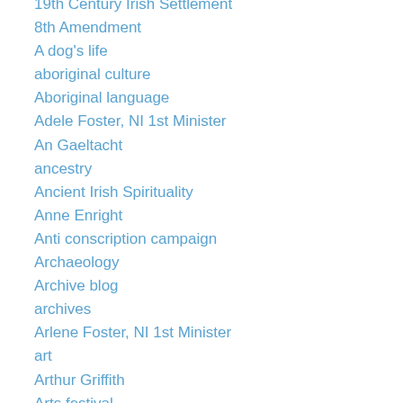19th Century Irish Settlement
8th Amendment
A dog's life
aboriginal culture
Aboriginal language
Adele Foster, NI 1st Minister
An Gaeltacht
ancestry
Ancient Irish Spirituality
Anne Enright
Anti conscription campaign
Archaeology
Archive blog
archives
Arlene Foster, NI 1st Minister
art
Arthur Griffith
Arts festival
asylum seekers
Austerity Ireland